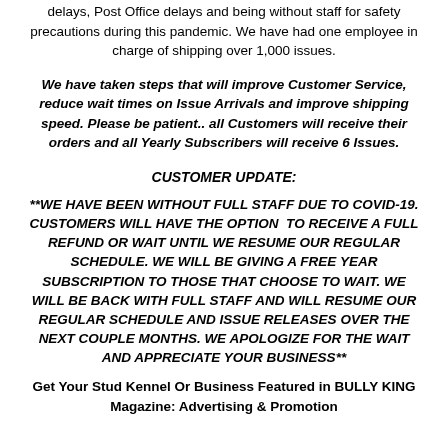delays, Post Office delays and being without staff for safety precautions during this pandemic. We have had one employee in charge of shipping over 1,000 issues.
We have taken steps that will improve Customer Service, reduce wait times on Issue Arrivals and improve shipping speed. Please be patient.. all Customers will receive their orders and all Yearly Subscribers will receive 6 Issues.
CUSTOMER UPDATE:
**WE HAVE BEEN WITHOUT FULL STAFF DUE TO COVID-19. CUSTOMERS WILL HAVE THE OPTION TO RECEIVE A FULL REFUND OR WAIT UNTIL WE RESUME OUR REGULAR SCHEDULE. WE WILL BE GIVING A FREE YEAR SUBSCRIPTION TO THOSE THAT CHOOSE TO WAIT. WE WILL BE BACK WITH FULL STAFF AND WILL RESUME OUR REGULAR SCHEDULE AND ISSUE RELEASES OVER THE NEXT COUPLE MONTHS. WE APOLOGIZE FOR THE WAIT AND APPRECIATE YOUR BUSINESS**
Get Your Stud Kennel Or Business Featured in BULLY KING Magazine: Advertising & Promotion